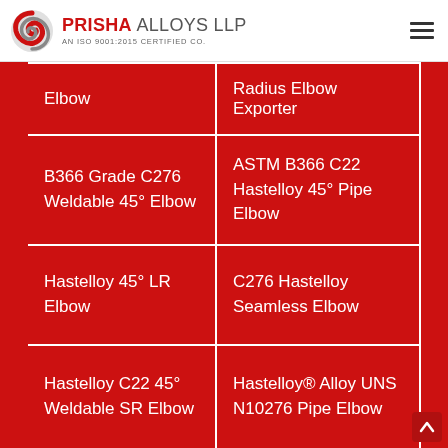PRISHA ALLOYS LLP — AN ISO 9001:2015 CERTIFIED CO.
|  |  |  |
| --- | --- | --- |
| Elbow | Radius Elbow Exporter |
| B366 Grade C276 Weldable 45° Elbow | ASTM B366 C22 Hastelloy 45° Pipe Elbow |
| Hastelloy 45° LR Elbow | C276 Hastelloy Seamless Elbow |
| Hastelloy C22 45° Weldable SR Elbow | Hastelloy® Alloy UNS N10276 Pipe Elbow |